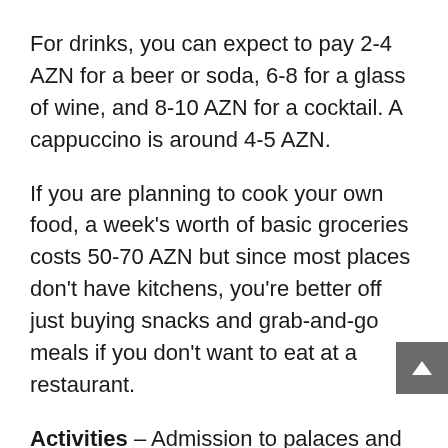For drinks, you can expect to pay 2-4 AZN for a beer or soda, 6-8 for a glass of wine, and 8-10 AZN for a cocktail. A cappuccino is around 4-5 AZN.
If you are planning to cook your own food, a week's worth of basic groceries costs 50-70 AZN but since most places don't have kitchens, you're better off just buying snacks and grab-and-go meals if you don't want to eat at a restaurant.
Activities – Admission to palaces and museums usually costs between 2-6 AZN. Lift passes for skiing cost 25-35 AZN while ski